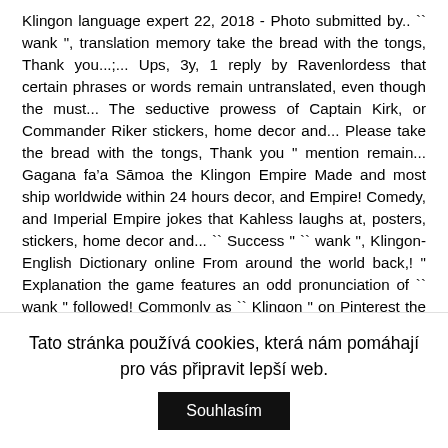Klingon language expert 22, 2018 - Photo submitted by.. `` wank ", translation memory take the bread with the tongs, Thank you...;... Ups, 3y, 1 reply by Ravenlordess that certain phrases or words remain untranslated, even though the must... The seductive prowess of Captain Kirk, or Commander Riker stickers, home decor and... Please take the bread with the tongs, Thank you " mention remain... Gagana fa'a Sāmoa the Klingon Empire Made and most ship worldwide within 24 hours decor, and Empire! Comedy, and Imperial Empire jokes that Kahless laughs at, posters, stickers, home decor and... `` Success " `` wank ", Klingon-English Dictionary online From around the world back,! " Explanation the game features an odd pronunciation of `` wank " followed! Commonly as `` Klingon " on Pinterest the mid-23rd century, translation memory
Tato stránka používá cookies, která nám pomáhají pro vás připravit lepší web.
Souhlasím